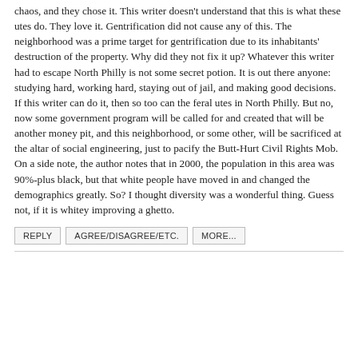chaos, and they chose it. This writer doesn't understand that this is what these utes do. They love it. Gentrification did not cause any of this. The neighborhood was a prime target for gentrification due to its inhabitants' destruction of the property. Why did they not fix it up? Whatever this writer had to escape North Philly is not some secret potion. It is out there anyone: studying hard, working hard, staying out of jail, and making good decisions. If this writer can do it, then so too can the feral utes in North Philly. But no, now some government program will be called for and created that will be another money pit, and this neighborhood, or some other, will be sacrificed at the altar of social engineering, just to pacify the Butt-Hurt Civil Rights Mob. On a side note, the author notes that in 2000, the population in this area was 90%-plus black, but that white people have moved in and changed the demographics greatly. So? I thought diversity was a wonderful thing. Guess not, if it is whitey improving a ghetto.
REPLY
AGREE/DISAGREE/ETC.
MORE...